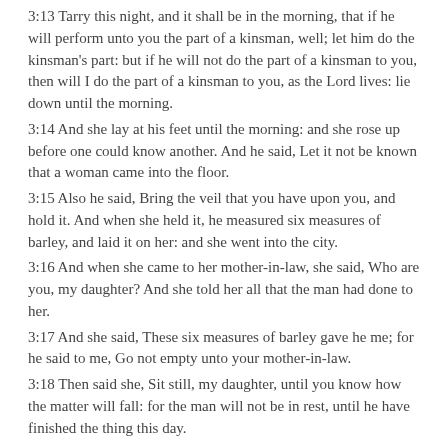3:13 Tarry this night, and it shall be in the morning, that if he will perform unto you the part of a kinsman, well; let him do the kinsman's part: but if he will not do the part of a kinsman to you, then will I do the part of a kinsman to you, as the Lord lives: lie down until the morning.
3:14 And she lay at his feet until the morning: and she rose up before one could know another. And he said, Let it not be known that a woman came into the floor.
3:15 Also he said, Bring the veil that you have upon you, and hold it. And when she held it, he measured six measures of barley, and laid it on her: and she went into the city.
3:16 And when she came to her mother-in-law, she said, Who are you, my daughter? And she told her all that the man had done to her.
3:17 And she said, These six measures of barley gave he me; for he said to me, Go not empty unto your mother-in-law.
3:18 Then said she, Sit still, my daughter, until you know how the matter will fall: for the man will not be in rest, until he have finished the thing this day.
RUTH    Chapter 4
4:1 Then went Boaz up to the gate, and sat him down there: and, behold, the kinsman of whom Boaz spoke came by; unto whom he said, Ho, such a one! turn aside, sit down here. And he turned aside,